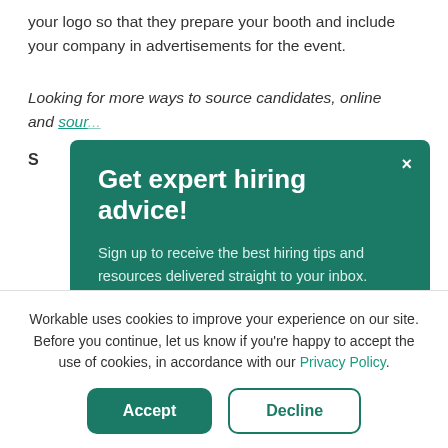your logo so that they prepare your booth and include your company in advertisements for the event.
Looking for more ways to source candidates, online and [offline? Check out our list of the best candidate sour...]
[Figure (screenshot): A teal/dark green modal popup with title 'Get expert hiring advice!', body text 'Sign up to receive the best hiring tips and resources delivered straight to your inbox.', a Subscribe button, and an X close button in the top right.]
Workable uses cookies to improve your experience on our site. Before you continue, let us know if you're happy to accept the use of cookies, in accordance with our Privacy Policy.
Accept | Decline